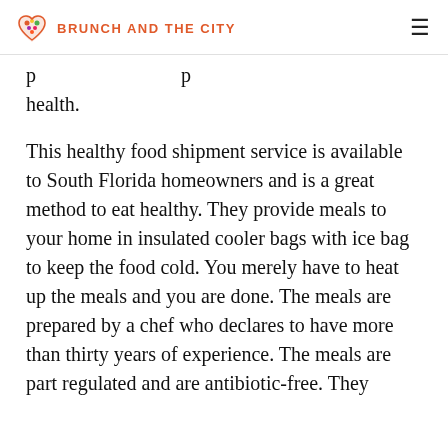BRUNCH AND THE CITY
p... health.
This healthy food shipment service is available to South Florida homeowners and is a great method to eat healthy. They provide meals to your home in insulated cooler bags with ice bag to keep the food cold. You merely have to heat up the meals and you are done. The meals are prepared by a chef who declares to have more than thirty years of experience. The meals are part regulated and are antibiotic-free. They